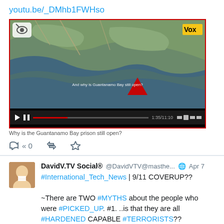youtu.be/_DMhb1FWHso
[Figure (screenshot): YouTube video thumbnail showing satellite map of Guantanamo Bay with a red triangle marker and Vox logo. Video controls visible at bottom. Caption: Why is the Guantanamo Bay prison still open?]
0 (reply, retweet, favorite actions)
DavidV.TV Social® @DavidVTV@masthe... Apr 7
#International_Tech_News | 9/11 COVERUP??

~There are TWO #MYTHS about the people who were #PICKED_UP. #1. ..is that they are all #HARDENED CAPABLE #TERRORISTS??

2. The #Other is that they WERE #ALL_INNOCENT